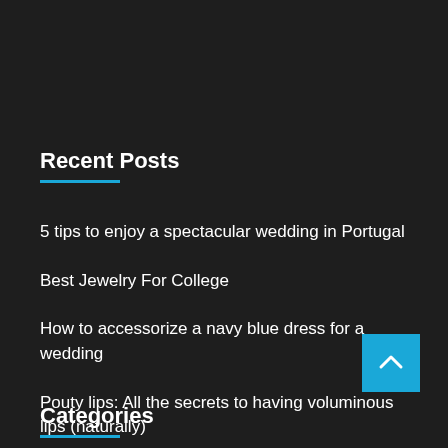Recent Posts
5 tips to enjoy a spectacular wedding in Portugal
Best Jewelry For College
How to accessorize a navy blue dress for a wedding
Pouty lips: All the secrets to having voluminous lips (naturally)
Eye Care Tips for a Clearer Vision
Categories